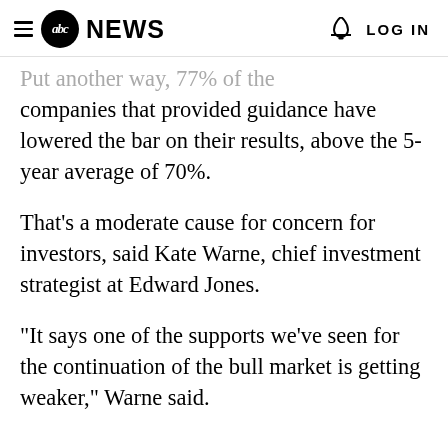abc NEWS  LOG IN
Put another way, 77% of the companies that provided guidance have lowered the bar on their results, above the 5-year average of 70%.
That's a moderate cause for concern for investors, said Kate Warne, chief investment strategist at Edward Jones.
"It says one of the supports we've seen for the continuation of the bull market is getting weaker," Warne said.